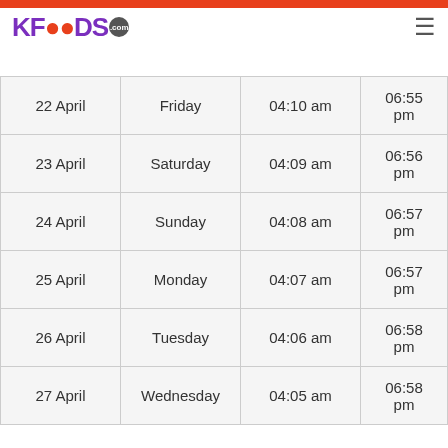KFOODS.com
| 22 April | Friday | 04:10 am | 06:55 pm |
| 23 April | Saturday | 04:09 am | 06:56 pm |
| 24 April | Sunday | 04:08 am | 06:57 pm |
| 25 April | Monday | 04:07 am | 06:57 pm |
| 26 April | Tuesday | 04:06 am | 06:58 pm |
| 27 April | Wednesday | 04:05 am | 06:58 pm |